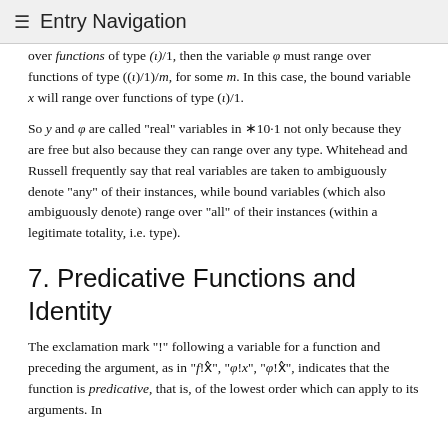≡ Entry Navigation
over functions of type (ι)/1, then the variable φ must range over functions of type ((ι)/1)/m, for some m. In this case, the bound variable x will range over functions of type (ι)/1.
So y and φ are called "real" variables in ∗10·1 not only because they are free but also because they can range over any type. Whitehead and Russell frequently say that real variables are taken to ambiguously denote "any" of their instances, while bound variables (which also ambiguously denote) range over "all" of their instances (within a legitimate totality, i.e. type).
7. Predicative Functions and Identity
The exclamation mark "!" following a variable for a function and preceding the argument, as in "f!x̂", "φ!x", "φ!x̂", indicates that the function is predicative, that is, of the lowest order which can apply to its arguments. In